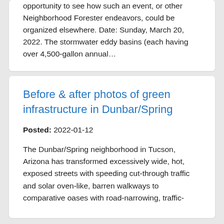opportunity to see how such an event, or other Neighborhood Forester endeavors, could be organized elsewhere. Date: Sunday, March 20, 2022. The stormwater eddy basins (each having over 4,500-gallon annual...
Before & after photos of green infrastructure in Dunbar/Spring
Posted: 2022-01-12
The Dunbar/Spring neighborhood in Tucson, Arizona has transformed excessively wide, hot, exposed streets with speeding cut-through traffic and solar oven-like, barren walkways to comparative oases with road-narrowing, traffic-